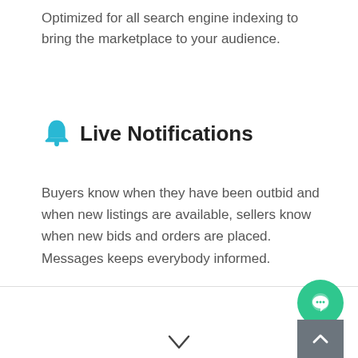Optimized for all search engine indexing to bring the marketplace to your audience.
Live Notifications
Buyers know when they have been outbid and when new listings are available, sellers know when new bids and orders are placed. Messages keeps everybody informed.
[Figure (illustration): Green chat bubble button (live chat widget) in lower right corner]
[Figure (illustration): Grey scroll-to-top button with upward chevron in lower right corner]
[Figure (illustration): Downward chevron arrow at bottom center of page]